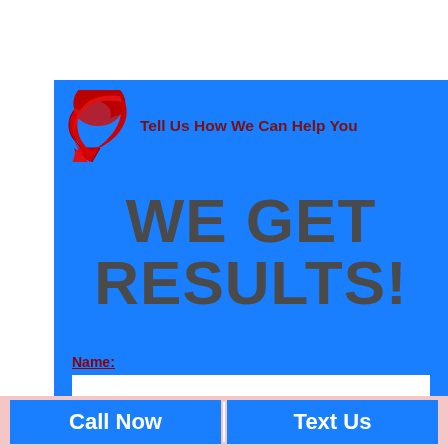[Figure (illustration): Red curved arrow icon pointing downward-left, used as a decorative logo element]
Tell Us How We Can Help You
WE GET RESULTS!
Name:
Email:
Call Now
Text Us